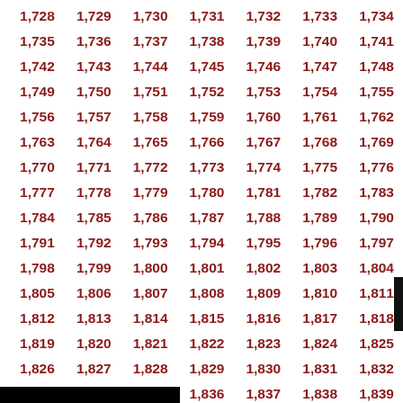| 1,728 | 1,729 | 1,730 | 1,731 | 1,732 | 1,733 | 1,734 |
| 1,735 | 1,736 | 1,737 | 1,738 | 1,739 | 1,740 | 1,741 |
| 1,742 | 1,743 | 1,744 | 1,745 | 1,746 | 1,747 | 1,748 |
| 1,749 | 1,750 | 1,751 | 1,752 | 1,753 | 1,754 | 1,755 |
| 1,756 | 1,757 | 1,758 | 1,759 | 1,760 | 1,761 | 1,762 |
| 1,763 | 1,764 | 1,765 | 1,766 | 1,767 | 1,768 | 1,769 |
| 1,770 | 1,771 | 1,772 | 1,773 | 1,774 | 1,775 | 1,776 |
| 1,777 | 1,778 | 1,779 | 1,780 | 1,781 | 1,782 | 1,783 |
| 1,784 | 1,785 | 1,786 | 1,787 | 1,788 | 1,789 | 1,790 |
| 1,791 | 1,792 | 1,793 | 1,794 | 1,795 | 1,796 | 1,797 |
| 1,798 | 1,799 | 1,800 | 1,801 | 1,802 | 1,803 | 1,804 |
| 1,805 | 1,806 | 1,807 | 1,808 | 1,809 | 1,810 | 1,811 |
| 1,812 | 1,813 | 1,814 | 1,815 | 1,816 | 1,817 | 1,818 |
| 1,819 | 1,820 | 1,821 | 1,822 | 1,823 | 1,824 | 1,825 |
| 1,826 | 1,827 | 1,828 | 1,829 | 1,830 | 1,831 | 1,832 |
| 1,833 | 1,834 | 1,835 | 1,836 | 1,837 | 1,838 | 1,839 |
| 1,840 | 1,841 | 1,842 | 1,843 | 1,844 | 1,845 | 1,846 |
| 1,847 | 1,848 | 1,849 | 1,850 | 1,851 | 1,852 | 1,853 |